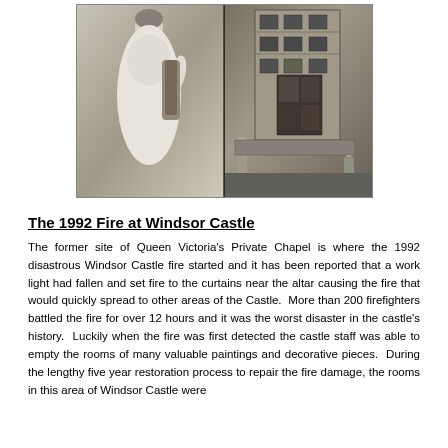[Figure (photo): Two black and white photographs side by side: left shows a woman in an Edwardian white dress standing next to a chair; right shows a large dollhouse or model building display with people examining it.]
The 1992 Fire at Windsor Castle
The former site of Queen Victoria's Private Chapel is where the 1992 disastrous Windsor Castle fire started and it has been reported that a work light had fallen and set fire to the curtains near the altar causing the fire that would quickly spread to other areas of the Castle.  More than 200 firefighters battled the fire for over 12 hours and it was the worst disaster in the castle's history.  Luckily when the fire was first detected the castle staff was able to empty the rooms of many valuable paintings and decorative pieces.  During the lengthy five year restoration process to repair the fire damage, the rooms in this area of Windsor Castle were